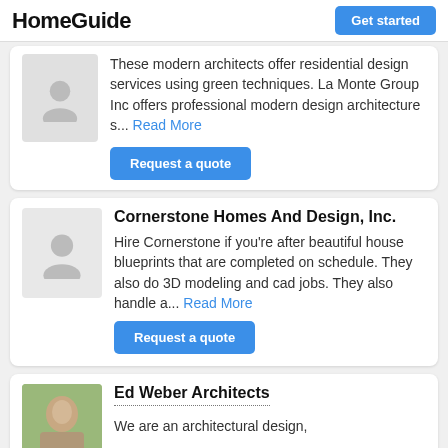HomeGuide | Get started
These modern architects offer residential design services using green techniques. La Monte Group Inc offers professional modern design architecture s... Read More
Request a quote
Cornerstone Homes And Design, Inc.
Hire Cornerstone if you're after beautiful house blueprints that are completed on schedule. They also do 3D modeling and cad jobs. They also handle a... Read More
Request a quote
Ed Weber Architects
We are an architectural design,